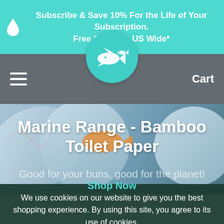Subscribe & Save 10% For the Life of Your Subscription. Free Shipping US Wide*
[Figure (screenshot): Website navigation bar with hamburger menu on left, circular teal logo with fish/whale icon in center, and Cart text on right, over dark gray background]
[Figure (photo): Hero section showing bamboo toilet paper rolls with marine animal illustrations (whale, fish, turtle) on blue-gray background]
Marine Range - Bamboo Toilet Paper
Good for your buns, good for the planet!
Shop Now
We use cookies on our website to give you the best shopping experience. By using this site, you agree to its use of cookies.
I agree